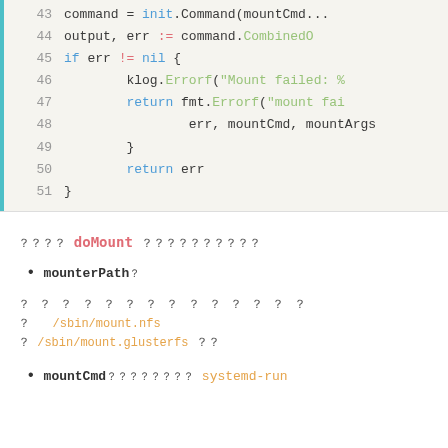[Figure (screenshot): Code snippet showing Go source code lines 43-51 with syntax highlighting. Line 44: output, err := command.CombinedO. Line 45: if err != nil {. Line 46: klog.Errorf("Mount failed: %. Line 47: return fmt.Errorf("mount fai. Line 48: err, mountCmd, mountArgs. Line 49: }. Line 50: return err. Line 51: }.]
？？？？ doMount ？？？？？？？？？？
mounterPath？
？ ？ ？ ？ ？ ？ ？ ？ ？ ？ ？ ？ ？ ？ ？   /sbin/mount.nfs ？ /sbin/mount.glusterfs ？？
mountCmd？？？？？？？？  systemd-run